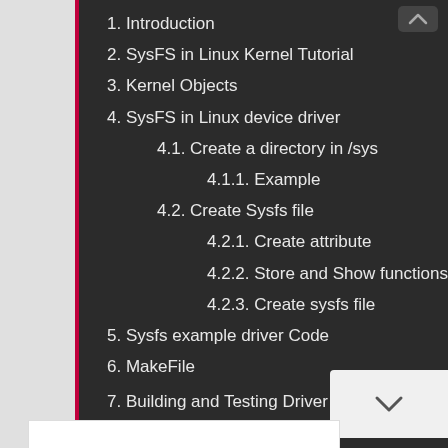1. Introduction
2. SysFS in Linux Kernel Tutorial
3. Kernel Objects
4. SysFS in Linux device driver
4.1. Create a directory in /sys
4.1.1. Example
4.2. Create Sysfs file
4.2.1. Create attribute
4.2.2. Store and Show functions
4.2.3. Create sysfs file
5. Sysfs example driver Code
6. MakeFile
7. Building and Testing Driver